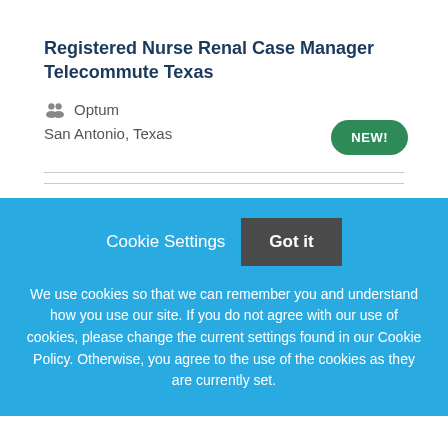Registered Nurse Renal Case Manager Telecommute Texas
Optum
San Antonio, Texas
NEW!
Cookie Settings  Got it
We use cookies so that we can remember you and understand how you use our site. If you do not agree with our use of cookies, please change the current settings found in our Cookie Policy. Otherwise, you agree to the use of the cookies as they are currently set.